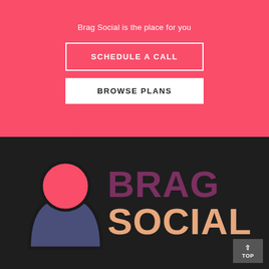Brag Social is the place for you
SCHEDULE A CALL
BROWSE PLANS
[Figure (logo): Brag Social logo: stylized person icon with pink circle head and dark blue body/arc on dark background, with 'BRAG SOCIAL' text in purple and peach colors]